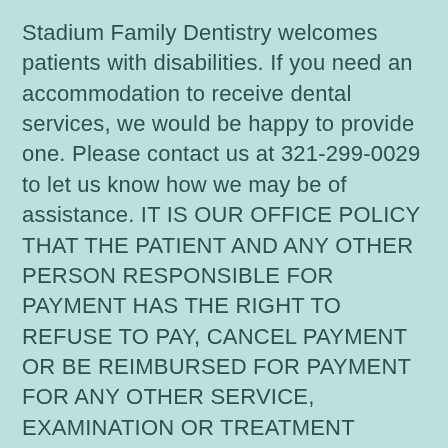Stadium Family Dentistry welcomes patients with disabilities. If you need an accommodation to receive dental services, we would be happy to provide one. Please contact us at 321-299-0029 to let us know how we may be of assistance. IT IS OUR OFFICE POLICY THAT THE PATIENT AND ANY OTHER PERSON RESPONSIBLE FOR PAYMENT HAS THE RIGHT TO REFUSE TO PAY, CANCEL PAYMENT OR BE REIMBURSED FOR PAYMENT FOR ANY OTHER SERVICE, EXAMINATION OR TREATMENT WHICH IS PERFORMED AS A RESULT OF AND WITHIN 72 HOURS OF RESPONDING TO THE ADVERTISEMENT FOR THE FREE, DISCOUNTED-FEE OR REDUCED-FEE SERVICE, EXAMINATION OR TREATMENT.